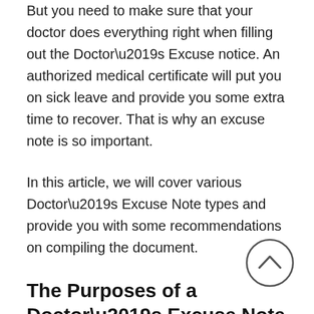But you need to make sure that your doctor does everything right when filling out the Doctor’s Excuse notice. An authorized medical certificate will put you on sick leave and provide you some extra time to recover. That is why an excuse note is so important.
In this article, we will cover various Doctor’s Excuse Note types and provide you with some recommendations on compiling the document.
The Purposes of a Doctor’s Excuse Note
As we said, a doctor’s note is a medical certificate that confirms your health condition and the